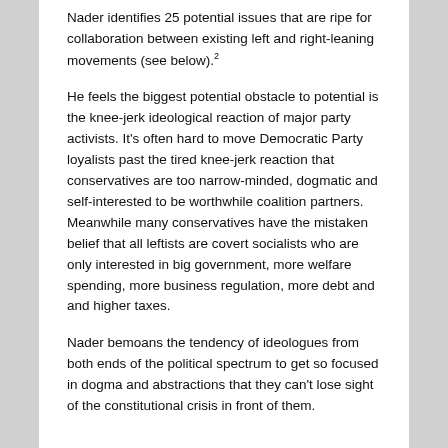Nader identifies 25 potential issues that are ripe for collaboration between existing left and right-leaning movements (see below).²
He feels the biggest potential obstacle to potential is the knee-jerk ideological reaction of major party activists. It's often hard to move Democratic Party loyalists past the tired knee-jerk reaction that conservatives are too narrow-minded, dogmatic and self-interested to be worthwhile coalition partners. Meanwhile many conservatives have the mistaken belief that all leftists are covert socialists who are only interested in big government, more welfare spending, more business regulation, more debt and and higher taxes.
Nader bemoans the tendency of ideologues from both ends of the political spectrum to get so focused in dogma and abstractions that they can't lose sight of the constitutional crisis in front of them.